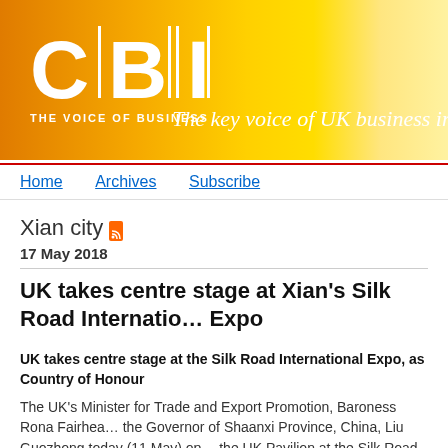[Figure (logo): CBI logo with gold/orange gradient background. Shows 'C|B|I' in large white bold letters with vertical dividers, tagline 'THE VOICE OF BUSINESS' below, and italic text 'The key voice of UK business in' on the right.]
Home   Archives   Subscribe
Xian city
17 May 2018
UK takes centre stage at Xian's Silk Road International Expo
UK takes centre stage at the Silk Road International Expo, as Country of Honour
The UK's Minister for Trade and Export Promotion, Baroness Rona Fairhea... the Governor of Shaanxi Province, China, Liu Guozhong today (11 May) op... the UK Pavilion at the Silk Road International Expo (SRIE) in Xi'an, where t...